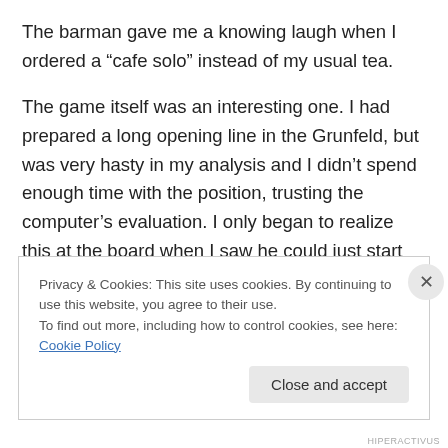The barman gave me a knowing laugh when I ordered a “cafe solo” instead of my usual tea.
The game itself was an interesting one. I had prepared a long opening line in the Grunfeld, but was very hasty in my analysis and I didn’t spend enough time with the position, trusting the computer’s evaluation. I only began to realize this at the board when I saw he could just start pushing his h-pawn. Needless to say, that is precisely what he did. I made a series of only moves, but then we had a bit of a comedy of errors (despite thinking our play was pretty
Privacy & Cookies: This site uses cookies. By continuing to use this website, you agree to their use.
To find out more, including how to control cookies, see here: Cookie Policy
HIPERACTIVUS